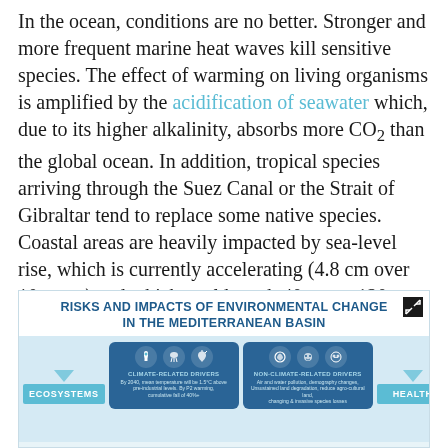In the ocean, conditions are no better. Stronger and more frequent marine heat waves kill sensitive species. The effect of warming on living organisms is amplified by the acidification of seawater which, due to its higher alkalinity, absorbs more CO₂ than the global ocean. In addition, tropical species arriving through the Suez Canal or the Strait of Gibraltar tend to replace some native species. Coastal areas are heavily impacted by sea-level rise, which is currently accelerating (4.8 cm over 10 years) and which could reach 40 cm to 120 cm in 2100, depending on the greenhouse gas emission scenario.
[Figure (infographic): Infographic titled 'RISKS AND IMPACTS OF ENVIRONMENTAL CHANGE IN THE MEDITERRANEAN BASIN' showing climate-related and non-climate-related drivers with arrows pointing to ECOSYSTEMS and HEALTH boxes.]